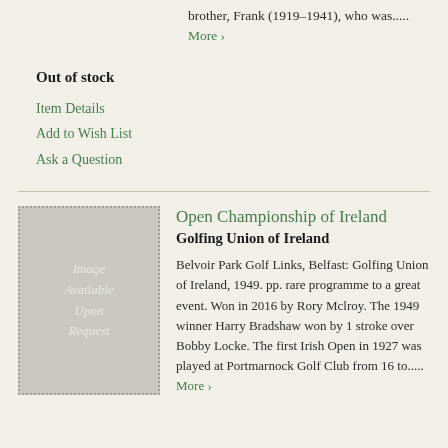brother, Frank (1919–1941), who was.....
More ›
Out of stock
Item Details
Add to Wish List
Ask a Question
[Figure (illustration): Placeholder image box labeled 'Image Available Upon Request' with dotted border on grey background]
Open Championship of Ireland
Golfing Union of Ireland
Belvoir Park Golf Links, Belfast: Golfing Union of Ireland, 1949. pp. rare programme to a great event. Won in 2016 by Rory Mclroy. The 1949 winner Harry Bradshaw won by 1 stroke over Bobby Locke. The first Irish Open in 1927 was played at Portmarnock Golf Club from 16 to.....
More ›